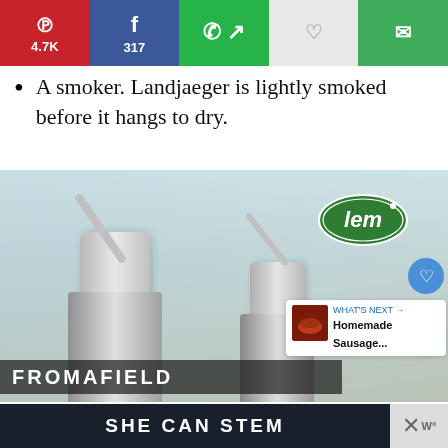[Figure (screenshot): Social sharing bar with Pinterest (4.7K), Facebook (317), WhatsApp share, heart/save, and email buttons]
A smoker. Landjaeger is lightly smoked before it hangs to dry.
[Figure (photo): LEM brand sausage stuffers (two stainless steel manual sausage stuffers) in a kitchen setting with LEM logo badge, social share buttons, a 'WHAT'S NEXT' Homemade Sausage thumbnail, and a 'FROMAFIELD' watermark at the bottom. An advertisement bar reading 'SHE CAN STEM' appears at the very bottom.]